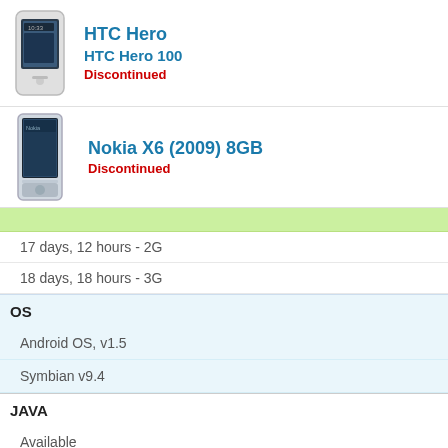[Figure (photo): HTC Hero smartphone product image]
HTC Hero
HTC Hero 100
Discontinued
[Figure (photo): Nokia X6 (2009) 8GB smartphone product image]
Nokia X6 (2009) 8GB
Discontinued
17 days, 12 hours - 2G
18 days, 18 hours - 3G
OS
Android OS, v1.5
Symbian v9.4
JAVA
Available
MIDP 2.0
VIBRATION
Available
Available